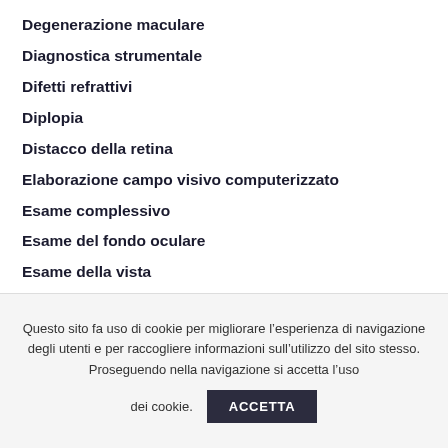Degenerazione maculare
Diagnostica strumentale
Difetti refrattivi
Diplopia
Distacco della retina
Elaborazione campo visivo computerizzato
Esame complessivo
Esame del fondo oculare
Esame della vista
Esame OCT
Foro maculare
Glaucoma
Iniezioni Intravitreali
Questo sito fa uso di cookie per migliorare l’esperienza di navigazione degli utenti e per raccogliere informazioni sull’utilizzo del sito stesso. Proseguendo nella navigazione si accetta l’uso dei cookie. ACCETTA